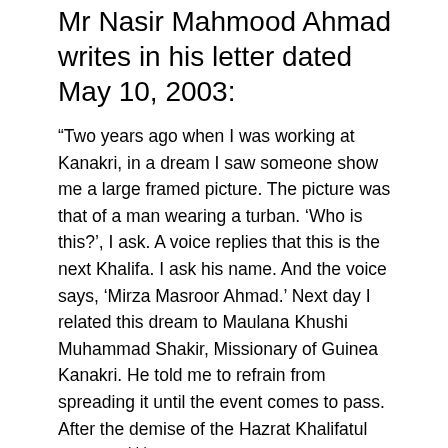Mr Nasir Mahmood Ahmad writes in his letter dated May 10, 2003:
“Two years ago when I was working at Kanakri, in a dream I saw someone show me a large framed picture. The picture was that of a man wearing a turban. ‘Who is this?’, I ask. A voice replies that this is the next Khalifa. I ask his name. And the voice says, ‘Mirza Masroor Ahmad.’ Next day I related this dream to Maulana Khushi Muhammad Shakir, Missionary of Guinea Kanakri. He told me to refrain from spreading it until the event comes to pass. After the demise of the Hazrat Khalifatul Masih IV(rh) but before the election I did tell my mother about it.”
(6)
Ms Amatul Musawwir of Darul Uloom Sharqi, Rabwah writes in her letter dated January 21, 2004: